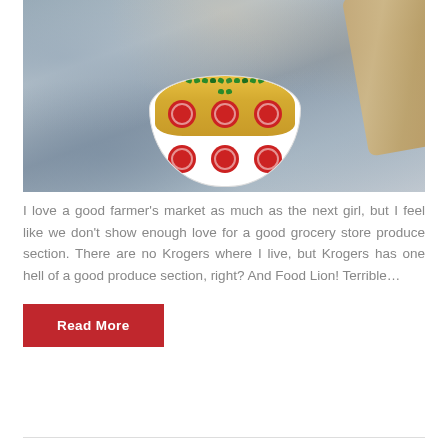[Figure (photo): A bowl of yellow mashed food (possibly squash or sweet potato) topped with green herbs/parsley, served in a white bowl with red circular pattern, placed on a granite/stone surface with a wooden board in the background.]
I love a good farmer’s market as much as the next girl, but I feel like we don’t show enough love for a good grocery store produce section. There are no Krogers where I live, but Krogers has one hell of a good produce section, right? And Food Lion! Terrible…
Read More